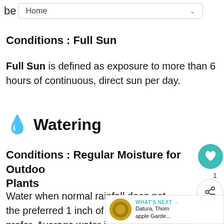be  Home
Conditions : Full Sun
Full Sun is defined as exposure to more than 6 hours of continuous, direct sun per day.
💧 Watering
Conditions : Regular Moisture for Outdoor Plants
Water when normal rainfall does not the preferred 1 inch of moisture most prefer. Average water is needed during the